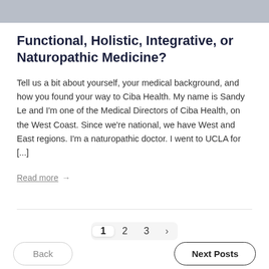[Figure (photo): Partial photo strip of people at the top of the page]
Functional, Holistic, Integrative, or Naturopathic Medicine?
Tell us a bit about yourself, your medical background, and how you found your way to Ciba Health. My name is Sandy Le and I'm one of the Medical Directors of Ciba Health, on the West Coast. Since we're national, we have West and East regions. I'm a naturopathic doctor. I went to UCLA for [...]
Read more →
1  2  3  >
Back
Next Posts